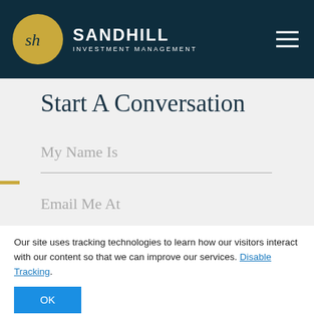SANDHILL INVESTMENT MANAGEMENT
Start A Conversation
My Name Is
Email Me At
Our site uses tracking technologies to learn how our visitors interact with our content so that we can improve our services. Disable Tracking.
OK